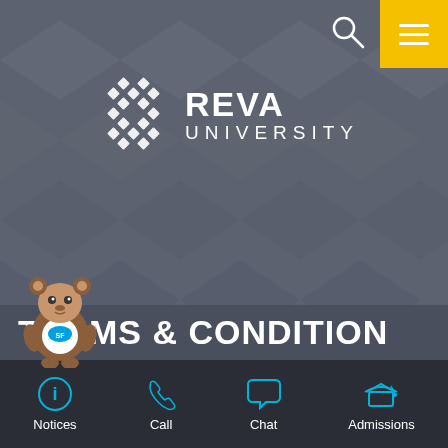[Figure (logo): Reva University logo with geometric diamond pattern icon and white text 'REVA UNIVERSITY']
TERMS & CONDITION
[Figure (illustration): Salesforce mascot Astro character dressed in bear costume with graduation attire]
Notices | Call | Chat | Admissions